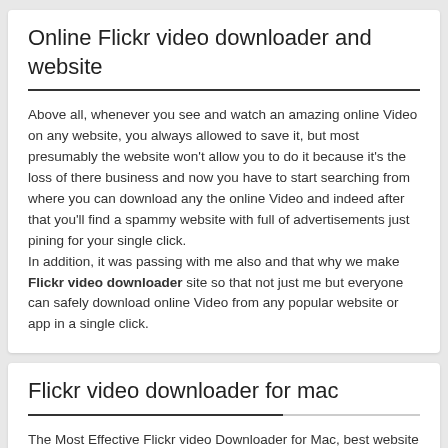Online Flickr video downloader and website
Above all, whenever you see and watch an amazing online Video on any website, you always allowed to save it, but most presumably the website won't allow you to do it because it's the loss of there business and now you have to start searching from where you can download any the online Video and indeed after that you'll find a spammy website with full of advertisements just pining for your single click.
In addition, it was passing with me also and that why we make Flickr video downloader site so that not just me but everyone can safely download online Video from any popular website or app in a single click.
Flickr video downloader for mac
The Most Effective Flickr video Downloader for Mac, best website to know How to Download Flickr videos from Any Website on Mac for Free, Top Best Free Flickr video